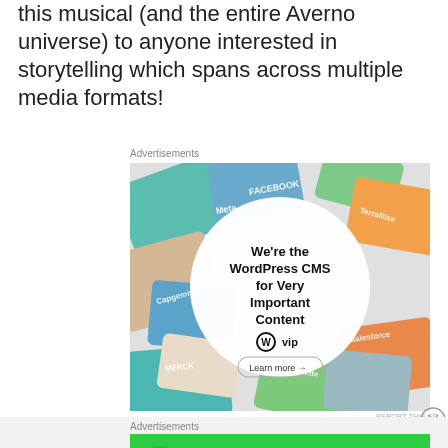this musical (and the entire Averno universe) to anyone interested in storytelling which spans across multiple media formats!
Advertisements
[Figure (screenshot): WordPress VIP advertisement banner showing colorful scattered cards with company logos (Meta, Facebook, Capgemini, Merck, Hachette, Salesforce, TerraRise). Central white circle contains text: We're the WordPress CMS for Very Important Content, with WordPress VIP logo and Learn more button.]
REPORT THIS AD
Advertisements
[Figure (screenshot): Jetpack advertisement banner on green background with Jetpack logo and 'Secure Your Site' button.]